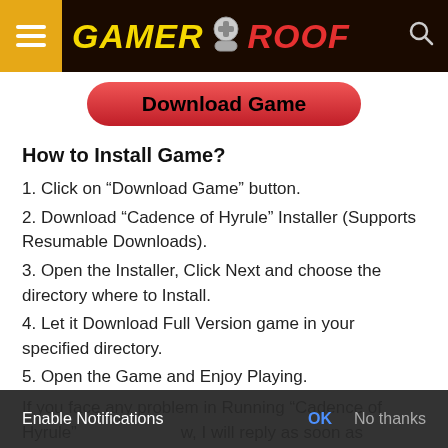GAMER ROOF
[Figure (other): Download Game button — red rounded rectangle button with bold black text]
How to Install Game?
1. Click on “Download Game” button.
2. Download “Cadence of Hyrule” Installer (Supports Resumable Downloads).
3. Open the Installer, Click Next and choose the directory where to Install.
4. Let it Download Full Version game in your specified directory.
5. Open the Game and Enjoy Playing.
If you face any problem in Running “Cadence of Hyrule” ... w, I will reply as soon as possible.
Enable Notifications  OK  No thanks